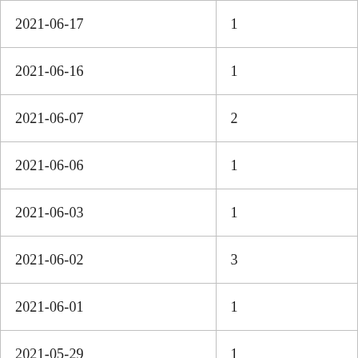| 2021-06-17 | 1 |
| 2021-06-16 | 1 |
| 2021-06-07 | 2 |
| 2021-06-06 | 1 |
| 2021-06-03 | 1 |
| 2021-06-02 | 3 |
| 2021-06-01 | 1 |
| 2021-05-29 | 1 |
| 2021-05-28 | 2 |
| 2021-05-25 | 1 |
| 2021-05-19 | 2 |